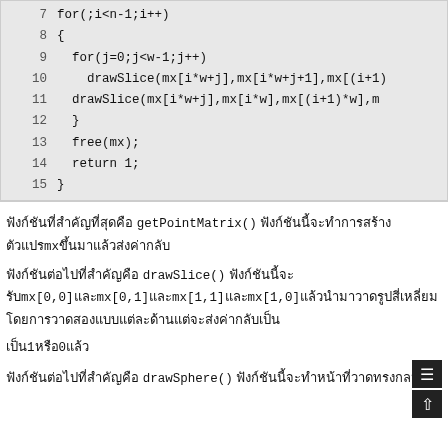[Figure (screenshot): Code block showing lines 7-15 of C code with for loops, drawSlice calls, free, and return statements on a grey background]
ฟังก์ชันgetPointMatrix() จะทำการสร้างอาร์เรย์mxขึ้นมาแล้วส่งค่ากลับ ฟังก์ชัน drawSlice() จะรับค่าmx[0,0]และmx[0,1]และmx[1,1]และmx[1,0]แล้วนำมาวาดรูปสี่เหลี่ยมโดยการวาดสองแบบแต่ละด้านจะส่งค่ากลับเป็น1หรือ0แล้ว
ฟังก์ชันต่อไปคือ drawSphere() ซึ่งจะทำหน้าที่วาดทรงกลม